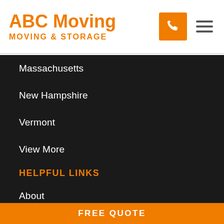[Figure (logo): ABC Moving logo with text 'ABC Moving' in orange bold and 'MOVING & STORAGE' below in orange uppercase, plus phone icon in orange square and hamburger menu icon]
Massachusetts
New Hampshire
Vermont
View More
HELPFUL LINKS
About
Blog
Offers
FREE QUOTE